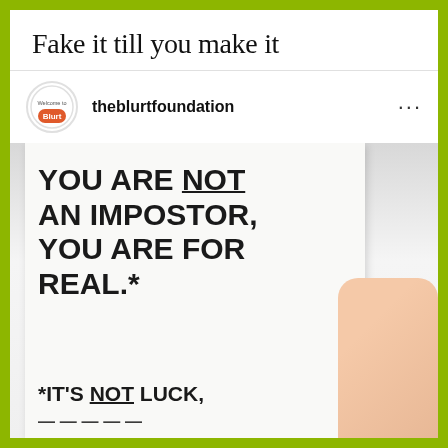Fake it till you make it
theblurtfoundation
[Figure (photo): Instagram post from theblurtfoundation showing a hand holding a white canvas/poster with handwritten text: 'YOU ARE NOT AN IMPOSTOR, YOU ARE FOR REAL.* *IT'S NOT LUCK,' with NOT underlined in both instances]
*It's NOT luck,